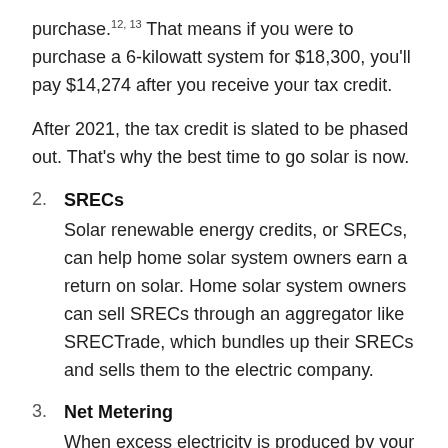purchase.¹²· ¹³ That means if you were to purchase a 6-kilowatt system for $18,300, you’ll pay $14,274 after you receive your tax credit.
After 2021, the tax credit is slated to be phased out. That’s why the best time to go solar is now.
2. SRECs
Solar renewable energy credits, or SRECs, can help home solar system owners earn a return on solar. Home solar system owners can sell SRECs through an aggregator like SRECTrade, which bundles up their SRECs and sells them to the electric company.
3. Net Metering
When excess electricity is produced by your solar system, it’s sent to the grid and the